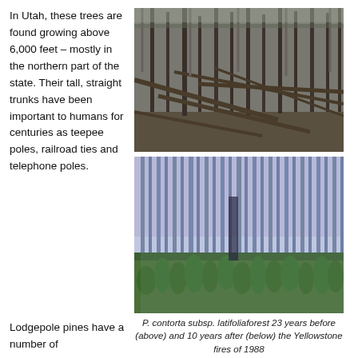In Utah, these trees are found growing above 6,000 feet – mostly in the northern part of the state. Their tall, straight trunks have been important to humans for centuries as teepee poles, railroad ties and telephone poles.
[Figure (photo): Forest scene showing fallen and standing dead lodgepole pine trees 23 years before the Yellowstone fires of 1988]
[Figure (photo): Forest scene showing lodgepole pine regeneration 10 years after the Yellowstone fires of 1988, with dense young green saplings growing among tall charred trunks]
P. contorta subsp. latifoliaforest 23 years before (above) and 10 years after (below) the Yellowstone fires of 1988
Lodgepole pines have a number of